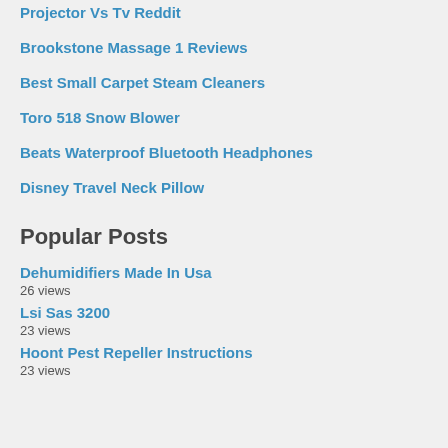Projector Vs Tv Reddit
Brookstone Massage 1 Reviews
Best Small Carpet Steam Cleaners
Toro 518 Snow Blower
Beats Waterproof Bluetooth Headphones
Disney Travel Neck Pillow
Popular Posts
Dehumidifiers Made In Usa
26 views
Lsi Sas 3200
23 views
Hoont Pest Repeller Instructions
23 views